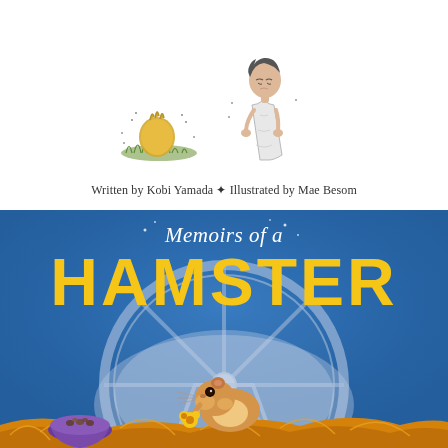[Figure (illustration): Pencil sketch illustration of a small crowned chick/egg on grass facing a sad-looking boy in a robe, on white background]
Written by Kobi Yamada ✦ Illustrated by Mae Besom
[Figure (illustration): Book cover illustration for 'Memoirs of a Hamster' — blue background with a hamster in a running wheel holding sunflower seeds, purple food bowl to the left, golden/orange hay in the foreground. Title text: 'Memoirs of a' in white italic script at top, 'HAMSTER' in large bold yellow letters below.]